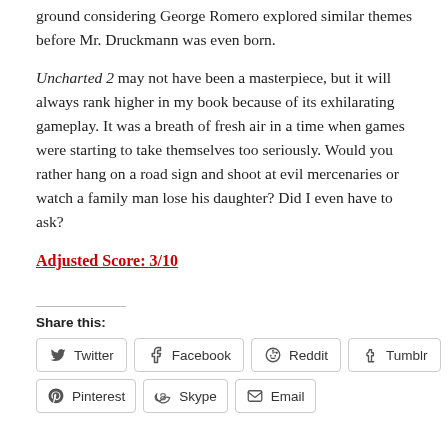ground considering George Romero explored similar themes before Mr. Druckmann was even born.
Uncharted 2 may not have been a masterpiece, but it will always rank higher in my book because of its exhilarating gameplay. It was a breath of fresh air in a time when games were starting to take themselves too seriously. Would you rather hang on a road sign and shoot at evil mercenaries or watch a family man lose his daughter? Did I even have to ask?
Adjusted Score: 3/10
Share this:
Twitter
Facebook
Reddit
Tumblr
Pinterest
Skype
Email